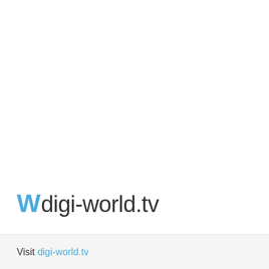Wdigi-world.tv
Visit digi-world.tv